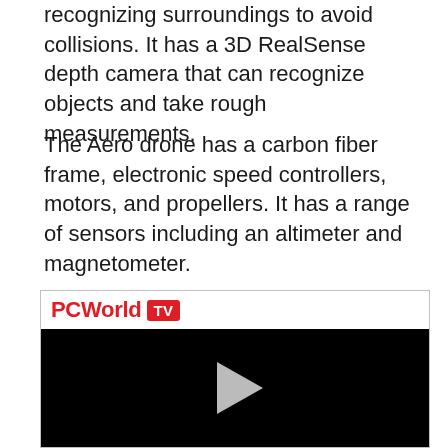recognizing surroundings to avoid collisions. It has a 3D RealSense depth camera that can recognize objects and take rough measurements.
The Aero drone has a carbon fiber frame, electronic speed controllers, motors, and propellers. It has a range of sensors including an altimeter and magnetometer.
[Figure (screenshot): PCWorld TV video player embed with a black video screen and a play button in the center. The header shows 'PCWorld' in red text and 'TV' in a red badge.]